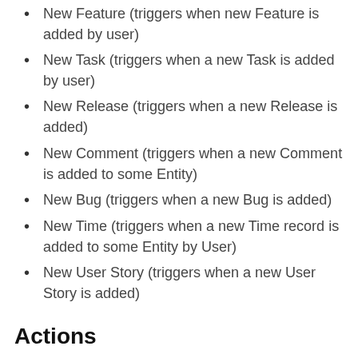New Feature (triggers when new Feature is added by user)
New Task (triggers when a new Task is added by user)
New Release (triggers when a new Release is added)
New Comment (triggers when a new Comment is added to some Entity)
New Bug (triggers when a new Bug is added)
New Time (triggers when a new Time record is added to some Entity by User)
New User Story (triggers when a new User Story is added)
Actions
Create Task (creates a Task, a small chunk of work, typically less than 16 hours. Task must relate to User